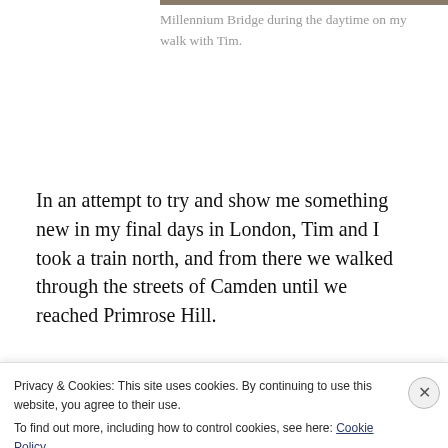Millennium Bridge during the daytime on my walk with Tim.
In an attempt to try and show me something new in my final days in London, Tim and I took a train north, and from there we walked through the streets of Camden until we reached Primrose Hill.
“It’s one of the best views in London, of London, people
Privacy & Cookies: This site uses cookies. By continuing to use this website, you agree to their use.
To find out more, including how to control cookies, see here: Cookie Policy
Close and accept